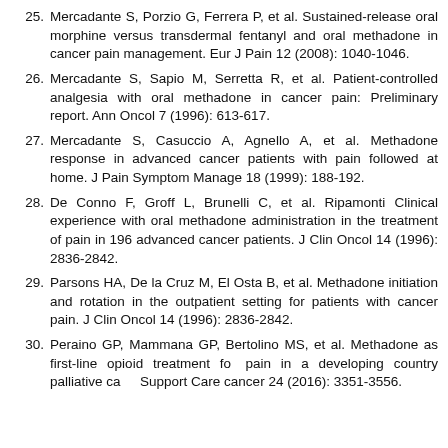25. Mercadante S, Porzio G, Ferrera P, et al. Sustained-release oral morphine versus transdermal fentanyl and oral methadone in cancer pain management. Eur J Pain 12 (2008): 1040-1046.
26. Mercadante S, Sapio M, Serretta R, et al. Patient-controlled analgesia with oral methadone in cancer pain: Preliminary report. Ann Oncol 7 (1996): 613-617.
27. Mercadante S, Casuccio A, Agnello A, et al. Methadone response in advanced cancer patients with pain followed at home. J Pain Symptom Manage 18 (1999): 188-192.
28. De Conno F, Groff L, Brunelli C, et al. Ripamonti Clinical experience with oral methadone administration in the treatment of pain in 196 advanced cancer patients. J Clin Oncol 14 (1996): 2836-2842.
29. Parsons HA, De la Cruz M, El Osta B, et al. Methadone initiation and rotation in the outpatient setting for patients with cancer pain. J Clin Oncol 14 (1996): 2836-2842.
30. Peraino GP, Mammana GP, Bertolino MS, et al. Methadone as first-line opioid treatment for cancer pain in a developing country palliative care. Support Care cancer 24 (2016): 3351-3556.